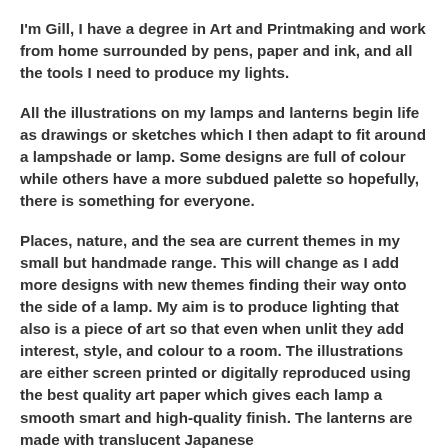I'm Gill, I have a degree in Art and Printmaking and work from home surrounded by pens, paper and ink, and all the tools I need to produce my lights.
All the illustrations on my lamps and lanterns begin life as drawings or sketches which I then adapt to fit around a lampshade or lamp. Some designs are full of colour while others have a more subdued palette so hopefully, there is something for everyone.
Places, nature, and the sea are current themes in my small but handmade range. This will change as I add more designs with new themes finding their way onto the side of a lamp. My aim is to produce lighting that also is a piece of art so that even when unlit they add interest, style, and colour to a room. The illustrations are either screen printed or digitally reproduced using the best quality art paper which gives each lamp a smooth smart and high-quality finish. The lanterns are made with translucent Japanese